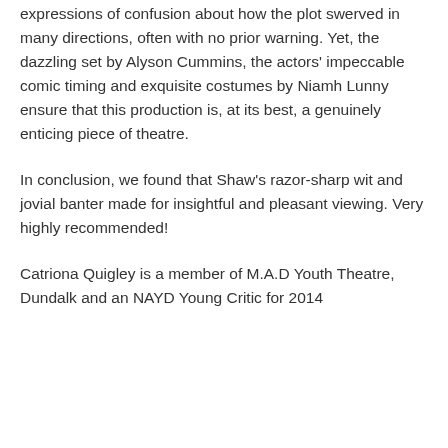expressions of confusion about how the plot swerved in many directions, often with no prior warning. Yet, the dazzling set by Alyson Cummins, the actors' impeccable comic timing and exquisite costumes by Niamh Lunny ensure that this production is, at its best, a genuinely enticing piece of theatre.
In conclusion, we found that Shaw's razor-sharp wit and jovial banter made for insightful and pleasant viewing. Very highly recommended!
Catriona Quigley is a member of M.A.D Youth Theatre, Dundalk and an NAYD Young Critic for 2014